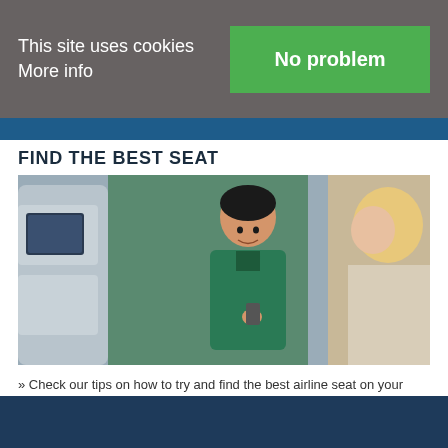This site uses cookies More info
No problem
FIND THE BEST SEAT
[Figure (photo): A smiling flight attendant in a green uniform pointing at an in-seat entertainment screen, with another passenger visible in the foreground.]
» Check our tips on how to try and find the best airline seat on your next trip.
AIRLINE FEATURES
» See our Special Features and take a look inside airline cabins, view airline seats, and read our "flying with" airline guides.